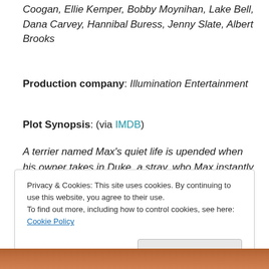Coogan, Ellie Kemper, Bobby Moynihan, Lake Bell, Dana Carvey, Hannibal Buress, Jenny Slate, Albert Brooks
Production company: Illumination Entertainment
Plot Synopsis: (via IMDB)
A terrier named Max's quiet life is upended when his owner takes in Duke, a stray, who Max instantly dislikes.
[Figure (screenshot): WooCommerce advertisement banner: purple left side with WooCommerce logo, right side with text 'How to start selling subscriptions online' and teal/orange accent shapes. 'REPORT THIS AD' text below.]
Privacy & Cookies: This site uses cookies. By continuing to use this website, you agree to their use.
To find out more, including how to control cookies, see here: Cookie Policy
Close and accept
[Figure (photo): Partial photo of people/characters at the bottom of the page, mostly cut off.]